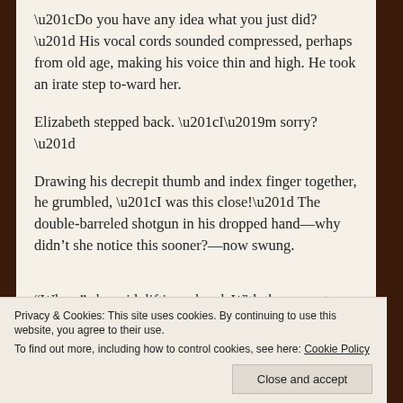“Do you have any idea what you just did?” His vocal cords sounded compressed, perhaps from old age, making his voice thin and high. He took an irate step to-ward her.
Elizabeth stepped back. “I’m sorry?”
Drawing his decrepit thumb and index finger together, he grumbled, “I was this close!” The double-barreled shotgun in his dropped hand—why didn’t she notice this sooner?—now swung.
“Whoa,” she said, lifting a hand. With the current
Privacy & Cookies: This site uses cookies. By continuing to use this website, you agree to their use.
To find out more, including how to control cookies, see here: Cookie Policy